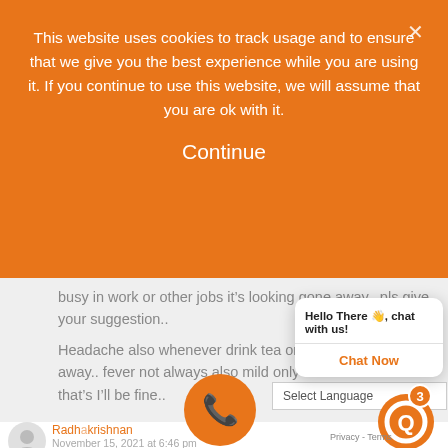This website uses cookies to track usage and to ensure that we give you the best experience while you are using it. If you continue to use this website, we will assume that you are ok with it.
Continue
busy in work or other jobs it’s looking gone away.. pls give your suggestion..
Headache also whenever drink tea or tablet it’s gone away.. fever not always also mild only 30min fever after that’s I’ll be fine..
Hello There 👋, chat with us!
Chat Now
Select Language
Radhakrishnan
November 15, 2021 at 6:46 pm
[Figure (other): Orange circular phone/call button icon]
[Figure (other): Orange circular logo icon with notification badge showing number 3]
Privacy - Terms